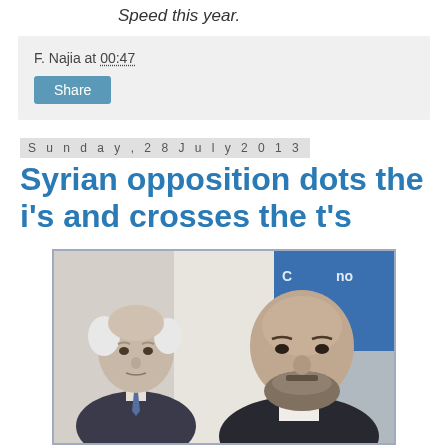Speed this year.
F. Najia at 00:47
Share
Sunday, 28 July 2013
Syrian opposition dots the i's and crosses the t's
[Figure (photo): Two men in suits seated at a table; left man has white hair and wears a tie, right man is bald with a beard wearing a dark suit, with a blue backdrop visible on the right side.]